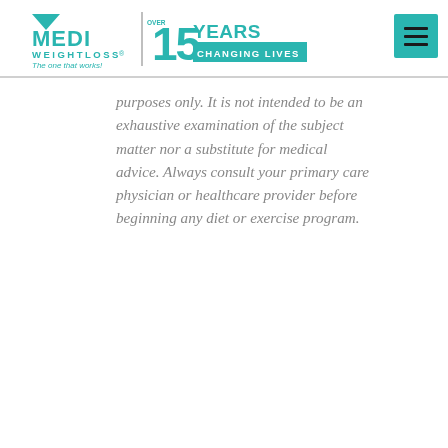[Figure (logo): Medi Weightloss logo with triangle arrow and tagline 'The one that works!' alongside '15 YEARS CHANGING LIVES' badge]
purposes only. It is not intended to be an exhaustive examination of the subject matter nor a substitute for medical advice. Always consult your primary care physician or healthcare provider before beginning any diet or exercise program.